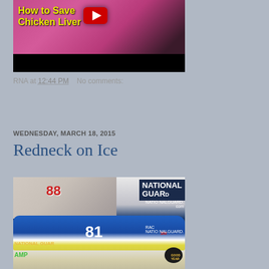[Figure (screenshot): YouTube video thumbnail showing chicken liver cooking video with yellow bold text overlay reading 'How to Save Chicken Liver' and a YouTube play button, with raw chicken liver visible in background]
RNA at 12:44 PM    No comments:
Share
WEDNESDAY, MARCH 18, 2015
Redneck on Ice
[Figure (photo): Photo of a NASCAR race car #88 sponsored by National Guard with people standing in front of it at what appears to be an indoor auto show or display event]